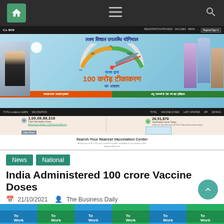[Figure (screenshot): Navigation bar with home icon, hamburger menu, and search icon on dark background]
[Figure (screenshot): CoWIN website screenshot showing India 100 crore vaccination milestone banner with Hindi text, stats showing 1,00,09,88,316 total doses and 20,51,870 vaccinations today, and Search Your Nearest Vaccination Center section]
News
National
India Administered 100 crore Vaccine Doses
21/10/2021   The Business Daily
India has administered more than 100 crore vaccines. Around 75 per cent of the eligible Indian population has been administered at least the first dose ... Read more
[Figure (screenshot): Bottom strip showing 'To Work' image thumbnails in alternating blue and green colors]